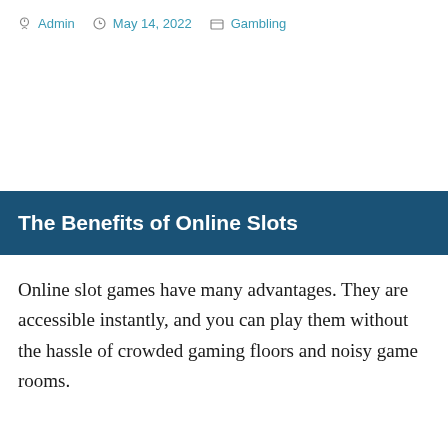Admin  May 14, 2022  Gambling
The Benefits of Online Slots
Online slot games have many advantages. They are accessible instantly, and you can play them without the hassle of crowded gaming floors and noisy game rooms.